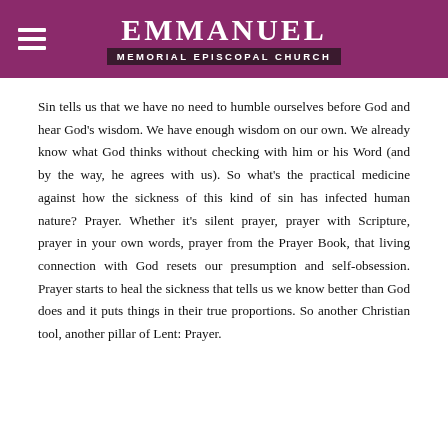EMMANUEL MEMORIAL EPISCOPAL CHURCH
Sin tells us that we have no need to humble ourselves before God and hear God's wisdom. We have enough wisdom on our own. We already know what God thinks without checking with him or his Word (and by the way, he agrees with us). So what's the practical medicine against how the sickness of this kind of sin has infected human nature? Prayer. Whether it's silent prayer, prayer with Scripture, prayer in your own words, prayer from the Prayer Book, that living connection with God resets our presumption and self-obsession. Prayer starts to heal the sickness that tells us we know better than God does and it puts things in their true proportions. So another Christian tool, another pillar of Lent: Prayer.